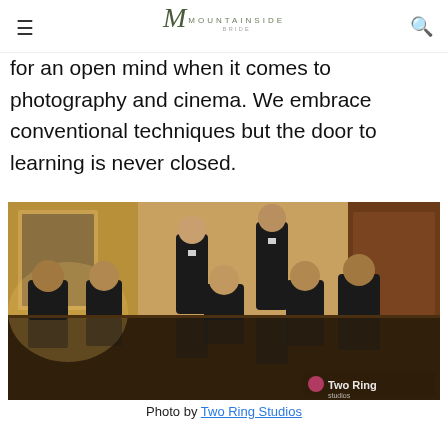Mountainside Bride — navigation header with hamburger menu and search icon
for an open mind when it comes to photography and cinema. We embrace conventional techniques but the door to learning is never closed.
[Figure (photo): Group of groomsmen in black tuxedos seated and standing around a large reflective conference table in an elegant room. Their reflections are visible in the table surface. A 'Two Ring Studios' watermark appears in the bottom right corner.]
Photo by Two Ring Studios